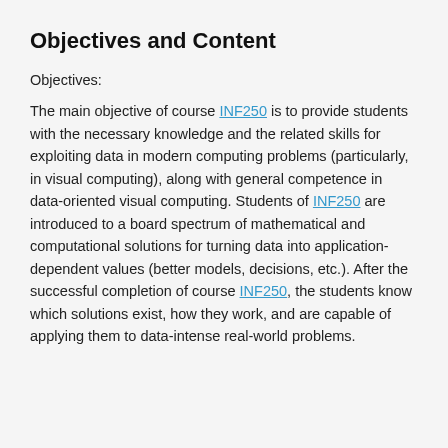Objectives and Content
Objectives:
The main objective of course INF250 is to provide students with the necessary knowledge and the related skills for exploiting data in modern computing problems (particularly, in visual computing), along with general competence in data-oriented visual computing. Students of INF250 are introduced to a board spectrum of mathematical and computational solutions for turning data into application-dependent values (better models, decisions, etc.). After the successful completion of course INF250, the students know which solutions exist, how they work, and are capable of applying them to data-intense real-world problems.